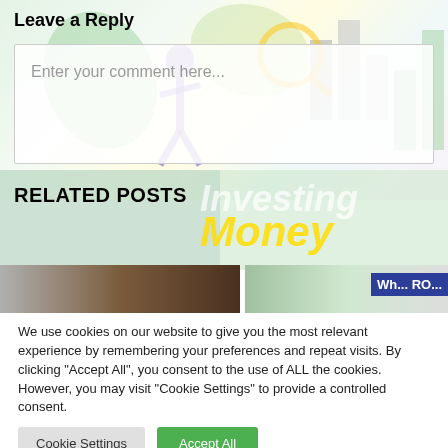[Figure (illustration): Colorful background illustration with financial and investment motifs including bar charts and green leaves]
Leave a Reply
Enter your comment here...
[Figure (illustration): Related posts section background with 'Investing Money' text overlay and thumbnail images]
RELATED POSTS
We use cookies on our website to give you the most relevant experience by remembering your preferences and repeat visits. By clicking "Accept All", you consent to the use of ALL the cookies. However, you may visit "Cookie Settings" to provide a controlled consent.
Cookie Settings
Accept All